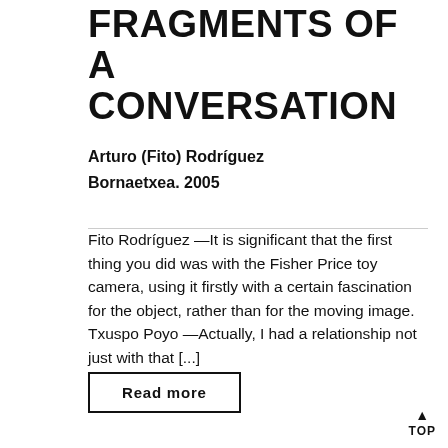FRAGMENTS OF A CONVERSATION
Arturo (Fito) Rodríguez
Bornaetxea. 2005
Fito Rodríguez —It is significant that the first thing you did was with the Fisher Price toy camera, using it firstly with a certain fascination for the object, rather than for the moving image. Txuspo Poyo —Actually, I had a relationship not just with that [...]
Read more
TOP